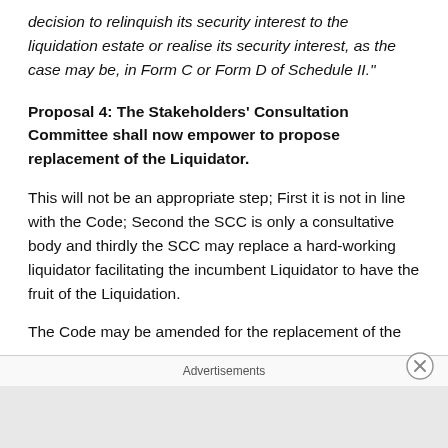decision to relinquish its security interest to the liquidation estate or realise its security interest, as the case may be, in Form C or Form D of Schedule II."
Proposal 4: The Stakeholders' Consultation Committee shall now empower to propose replacement of the Liquidator.
This will not be an appropriate step; First it is not in line with the Code; Second the SCC is only a consultative body and thirdly the SCC may replace a hard-working liquidator facilitating the incumbent Liquidator to have the fruit of the Liquidation.
The Code may be amended for the replacement of the
Advertisements